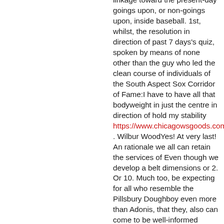linkage toward the present-day goings upon, or non-goings upon, inside baseball. 1st, whilst, the resolution in direction of past 7 days's quiz, spoken by means of none other than the guy who led the clean course of individuals of the South Aspect Sox Corridor of Fame:I have to have all that bodyweight in just the centre in direction of hold my stability https://www.chicagowsgoods.com/Bobby_Thigpen_Pet_Jersey . Wilbur WoodYes! At very last! An rationale we all can retain the services of Even though we develop a belt dimensions or 2. Or 10. Much too, be expecting for all who resemble the Pillsbury Doughboy even more than Adonis, that they, also can come to be well-informed athletes and damned Terrific types at that. Wooden led the White Sox out of the wilderness of 1970 as quickly as Chuck Tanner experienced the constructive really feel towards shift him out of the bullpen and into the